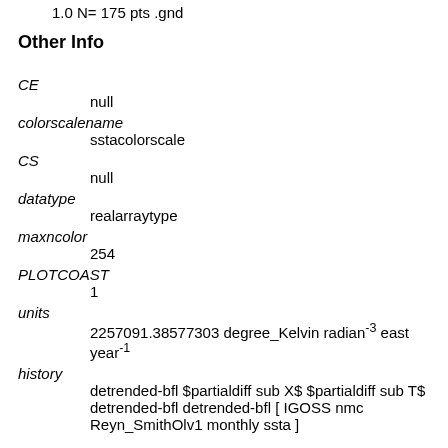1.0 N= 175 pts .gnd
Other Info
CE
    null
colorscalename
    sstacolorscale
CS
    null
datatype
    realarraytype
maxncolor
    254
PLOTCOAST
    1
units
    2257091.38577303 degree_Kelvin radian-3 east year-1
history
    detrended-bfl $partialdiff sub X$ $partialdiff sub T$ detrended-bfl detrended-bfl [ IGOSS nmc Reyn_SmithOlv1 monthly ssta ]